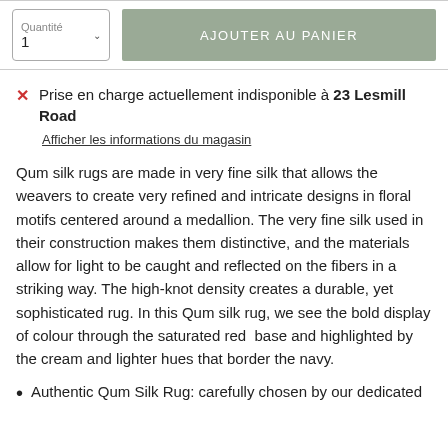Quantité
1
AJOUTER AU PANIER
Prise en charge actuellement indisponible à 23 Lesmill Road
Afficher les informations du magasin
Qum silk rugs are made in very fine silk that allows the weavers to create very refined and intricate designs in floral motifs centered around a medallion. The very fine silk used in their construction makes them distinctive, and the materials allow for light to be caught and reflected on the fibers in a striking way. The high-knot density creates a durable, yet sophisticated rug. In this Qum silk rug, we see the bold display of colour through the saturated red  base and highlighted by the cream and lighter hues that border the navy.
Authentic Qum Silk Rug: carefully chosen by our dedicated